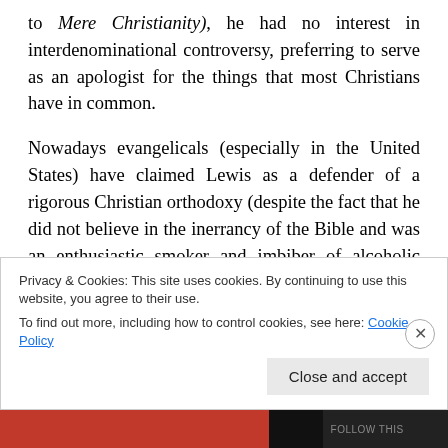to Mere Christianity), he had no interest in interdenominational controversy, preferring to serve as an apologist for the things that most Christians have in common.
Nowadays evangelicals (especially in the United States) have claimed Lewis as a defender of a rigorous Christian orthodoxy (despite the fact that he did not believe in the inerrancy of the Bible and was an enthusiastic smoker and imbiber of alcoholic beverages). Likewise, Roman Catholics have sometimes
Privacy & Cookies: This site uses cookies. By continuing to use this website, you agree to their use.
To find out more, including how to control cookies, see here: Cookie Policy